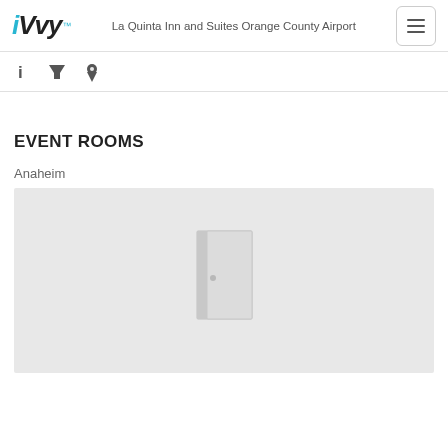iVvy — La Quinta Inn and Suites Orange County Airport
EVENT ROOMS
Anaheim
[Figure (illustration): Placeholder image showing a grey door icon on a light grey background representing an event room with no photo available]